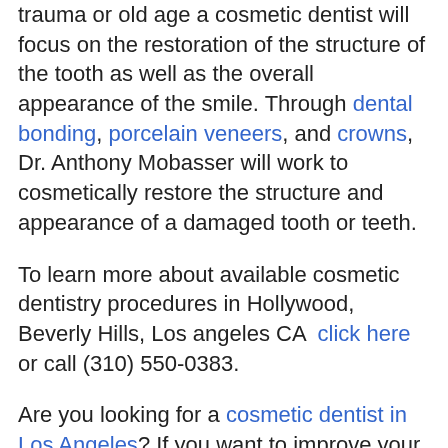trauma or old age a cosmetic dentist will focus on the restoration of the structure of the tooth as well as the overall appearance of the smile. Through dental bonding, porcelain veneers, and crowns, Dr. Anthony Mobasser will work to cosmetically restore the structure and appearance of a damaged tooth or teeth.
To learn more about available cosmetic dentistry procedures in Hollywood, Beverly Hills, Los angeles CA click here or call (310) 550-0383.
Are you looking for a cosmetic dentist in Los Angeles? If you want to improve your smile and feel more confident than ever before, look no further than Dr. Anthony Mobasser.
With over 30 years of experience, Dr. Mobasser